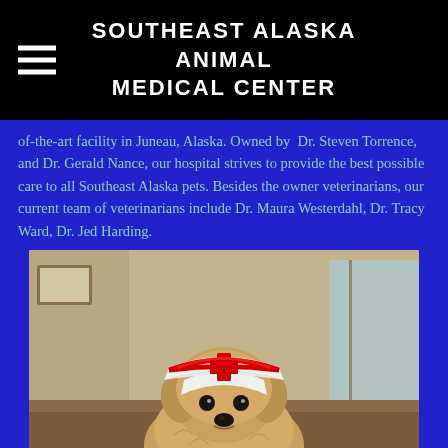SOUTHEAST ALASKA ANIMAL MEDICAL CENTER
of-the-art facility in Juneau, Alaska. Owned by Dr. Steven Torrence, and Dr. Gerald Nance, our hospital strives to provide the best possible care to all Southeast Alaska pets. Besides the owner veterinarians, our current team of veterinarians include Dr. Maura Westerdahl, Dr. Tracy Ward, Dr. Jed Harding.
[Figure (photo): A small terrier dog wearing a white nurse hat with a red cross, sitting in what appears to be a veterinary clinic reception area.]